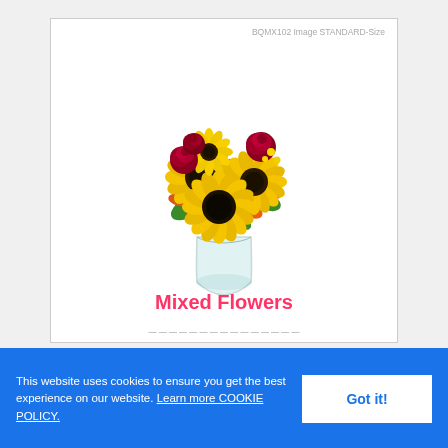BQMX102 Image STANDARD-Size
[Figure (photo): A colorful flower bouquet in a glass vase featuring sunflowers, orange lilies, red roses, and yellow daisies with green leaves]
Mixed Flowers
This website uses cookies to ensure you get the best experience on our website. Learn more COOKIE POLICY.
Got it!